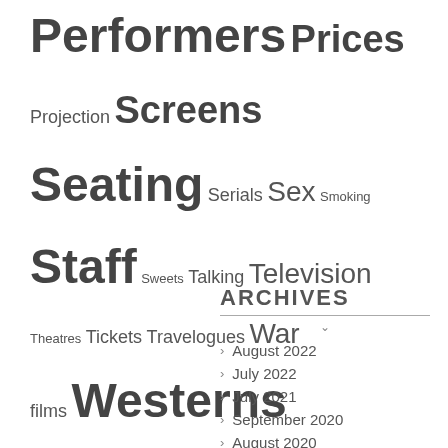Performers Prices
Projection Screens
Seating Serials Sex Smoking
Staff Sweets Talking Television
Theatres Tickets Travelogues War
films Westerns
ARCHIVES
August 2022
July 2022
July 2021
September 2020
August 2020
July 2020